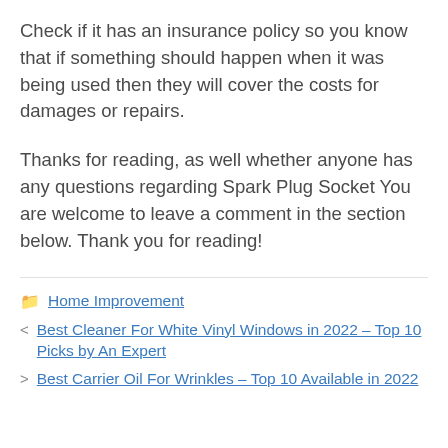Check if it has an insurance policy so you know that if something should happen when it was being used then they will cover the costs for damages or repairs.
Thanks for reading, as well whether anyone has any questions regarding Spark Plug Socket You are welcome to leave a comment in the section below. Thank you for reading!
Home Improvement
Best Cleaner For White Vinyl Windows in 2022 – Top 10 Picks by An Expert
Best Carrier Oil For Wrinkles – Top 10 Available in 2022